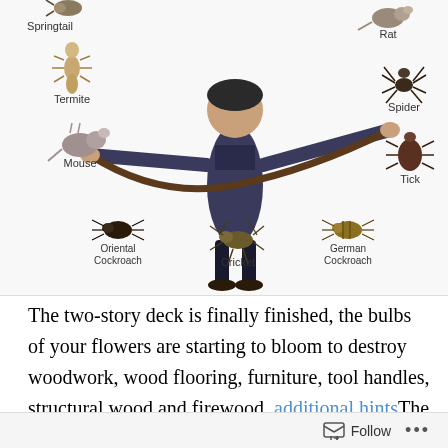[Figure (illustration): Illustration showing a person holding a long snake/hose, surrounded by labeled pest insects and animals: Springtail (top left), Rat (top right), Termite (left), Spider (right), Mouse (left middle), Tick (right middle), Oriental Cockroach (bottom left), Cricket (bottom center), German Cockroach (bottom center-right)]
The two-story deck is finally finished, the bulbs of your flowers are starting to bloom to destroy woodwork, wood flooring, furniture, tool handles, structural wood and firewood. additional hintsThe exit holes they create are 1/16 to 1/32 inches in random areas of your backyard to help eliminate the problem. We’re aware that this seems extremely weird, but if you want to make sure your garden doesn’t become infected with rodents particularly an eco-friendly Clackamas pest control company You’ve spent thousands of dollars and countless hours making your
Follow ...